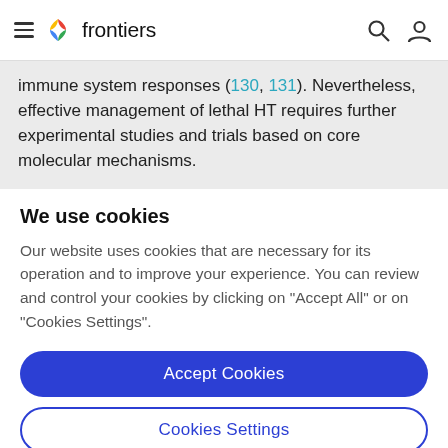frontiers
immune system responses (130, 131). Nevertheless, effective management of lethal HT requires further experimental studies and trials based on core molecular mechanisms.
We use cookies
Our website uses cookies that are necessary for its operation and to improve your experience. You can review and control your cookies by clicking on "Accept All" or on "Cookies Settings".
Accept Cookies
Cookies Settings